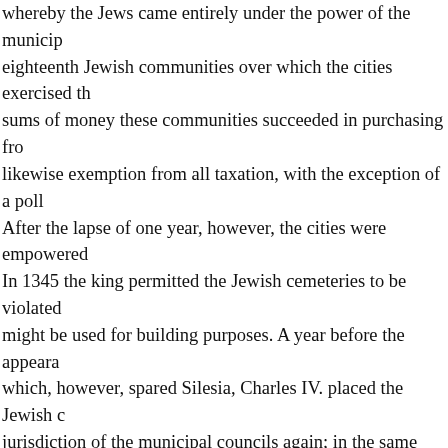whereby the Jews came entirely under the power of the munic eighteen Jewish communities over which the cities exercised th sums of money these communities succeeded in purchasing fro likewise exemption from all taxation, with the exception of a pol After the lapse of one year, however, the cities were empowered In 1345 the king permitted the Jewish cemeteries to be violated might be used for building purposes. A year before the appeara which, however, spared Silesia, Charles IV. placed the Jewish c jurisdiction of the municipal councils again; in the same year the Jewis persecutions in Görlitz, Glatz, and Ober-Glogau.
Breslau Fires of 1349 and 1360.
The Breslau community suffered severely when a conflagration 1349, was laid at the door of the Jews. Sixty heads of families w property was divided between the city and the king, the former s two synagogues, the latter the cemetery and all outstanding cla Feb. 21, 1360, with regard to the punishment of the accused...